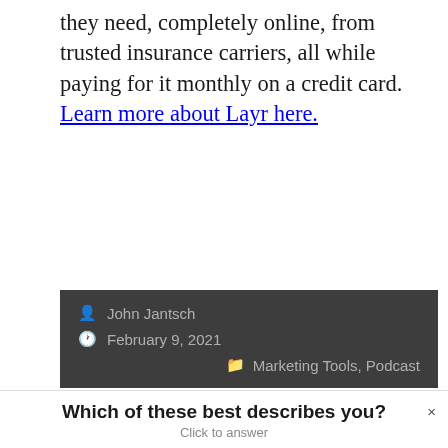they need, completely online, from trusted insurance carriers, all while paying for it monthly on a credit card. Learn more about Layr here.
John Jantsch
February 9, 2021
Marketing Tools, Podcast
Which of these best describes you?
Click to answer